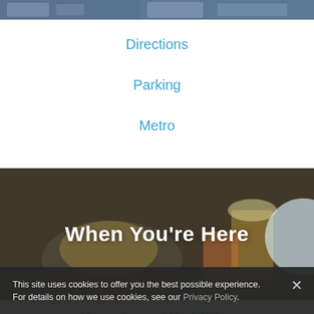[Figure (screenshot): Top strip photo showing venue/city images in a horizontal banner]
Directions
Parking
Metro
[Figure (photo): Hero image of food (loaded fries on a plate) and drinks (orange cocktail and yellow margarita in a tall glass) with a dark overlay, with white bold text 'When You're Here' centered over the image]
Vaccination and Mask Policy
Nearby Dining
Seating Chart
This site uses cookies to offer you the best possible experience. For details on how we use cookies, see our Privacy Policy.